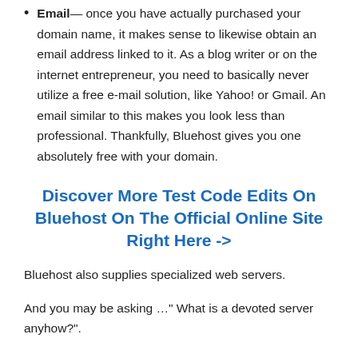Email— once you have actually purchased your domain name, it makes sense to likewise obtain an email address linked to it. As a blog writer or on the internet entrepreneur, you need to basically never utilize a free e-mail solution, like Yahoo! or Gmail. An email similar to this makes you look less than professional. Thankfully, Bluehost gives you one absolutely free with your domain.
Discover More Test Code Edits On Bluehost On The Official Online Site Right Here ->
Bluehost also supplies specialized web servers.
And you may be asking …" What is a devoted server anyhow?".
Well, the important things is, the basic web hosting plans of Bluehost can just a lot traffic for your internet site, after which you'll